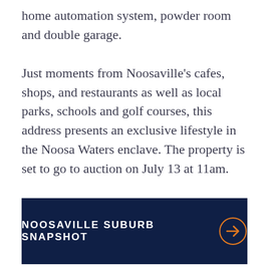home automation system, powder room and double garage. Just moments from Noosaville's cafes, shops, and restaurants as well as local parks, schools and golf courses, this address presents an exclusive lifestyle in the Noosa Waters enclave. The property is set to go to auction on July 13 at 11am.
[Figure (other): Dark navy blue banner with white uppercase text 'NOOSAVILLE SUBURB SNAPSHOT' and an orange circular arrow button on the right]